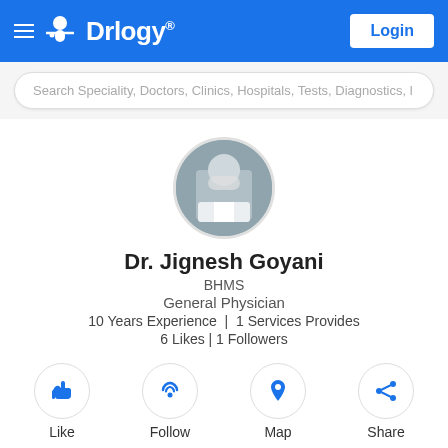Drlogy®
[Figure (screenshot): Search bar with placeholder text: Search Speciality, Doctors, Clinics, Hospitals, Tests, Diagnostics, l]
[Figure (photo): Circular profile photo of Dr. Jignesh Goyani wearing a mask, seated]
Dr. Jignesh Goyani
BHMS
General Physician
10 Years Experience  |  1 Services Provides
6 Likes | 1 Followers
[Figure (infographic): Four action buttons: Like (thumbs up icon), Follow (wifi/signal icon), Map (location pin icon), Share (share icon)]
Info
Services
Questions